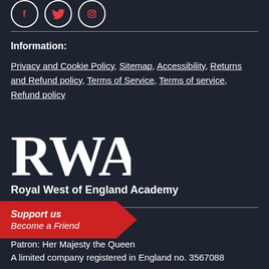[Figure (illustration): Three social media icon circles: Facebook (f), Twitter (bird), Instagram (camera)]
Information:
Privacy and Cookie Policy, Sitemap, Accessibility, Returns and Refund policy, Terms of Service, Terms of service, Refund policy
[Figure (logo): RWA logo in large white serif letters on dark background]
Royal West of England Academy
Support us
Become a Friend
Charity no. 1070163
Patron: Her Majesty the Queen
A limited company registered in England no. 3567088